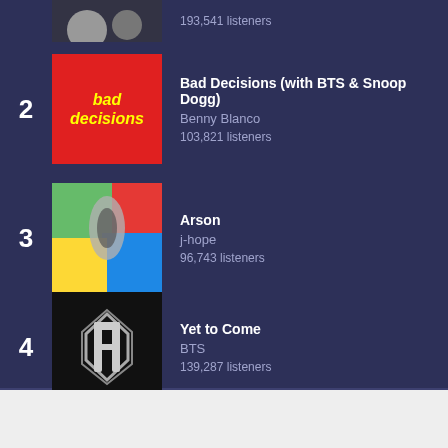193,541 listeners
2 - Bad Decisions (with BTS & Snoop Dogg) - Benny Blanco - 103,821 listeners
3 - Arson - j-hope - 96,743 listeners
4 - Yet to Come - BTS - 139,287 listeners
5 - Run BTS - BTS - 135,942 listeners